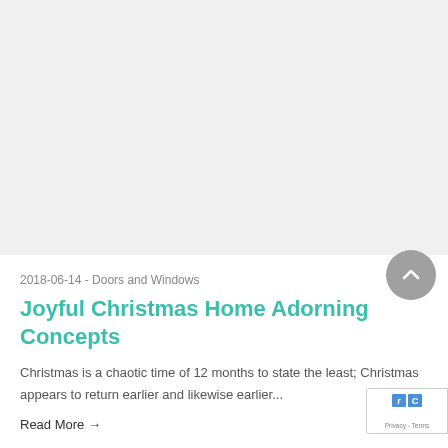2018-06-14 - Doors and Windows
Joyful Christmas Home Adorning Concepts
Christmas is a chaotic time of 12 months to state the least; Christmas appears to return earlier and likewise earlier...
Read More →